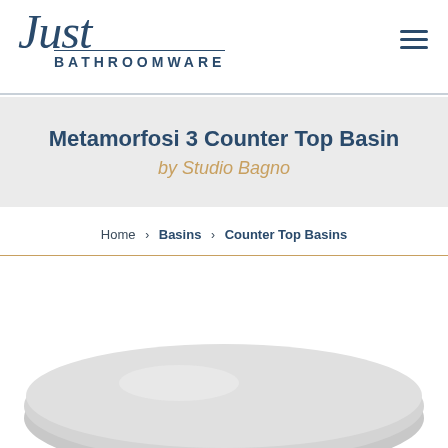Just Bathroomware
Metamorfosi 3 Counter Top Basin by Studio Bagno
Home > Basins > Counter Top Basins
[Figure (photo): Counter top basin product photo showing a white rounded basin viewed from above, partially visible at the bottom of the page]